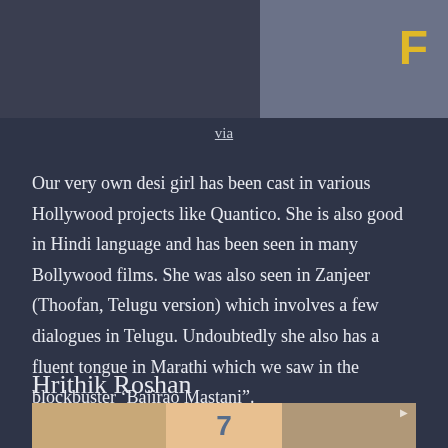[Figure (photo): Top portion of a photo showing a woman with dark hair wearing a jacket, partial view cut off at top]
via
Our very own desi girl has been cast in various Hollywood projects like Quantico. She is also good in Hindi language and has been seen in many Bollywood films. She was also seen in Zanjeer (Thoofan, Telugu version) which involves a few dialogues in Telugu. Undoubtedly she also has a fluent tongue in Marathi which we saw in the blockbuster ‘Bajirao Mastani”.
Hrithik Roshan
[Figure (photo): Bottom portion of a photo showing Hrithik Roshan, partial view at bottom of page]